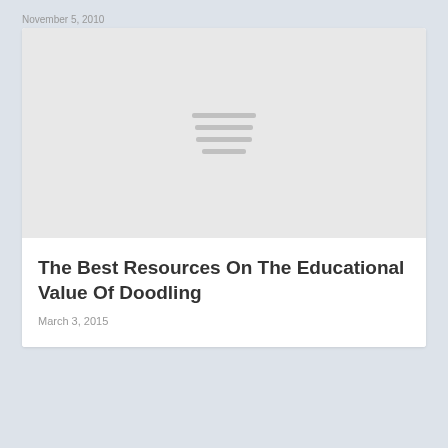November 5, 2010
[Figure (illustration): Gray placeholder image with horizontal lines icon in center]
The Best Resources On The Educational Value Of Doodling
March 3, 2015